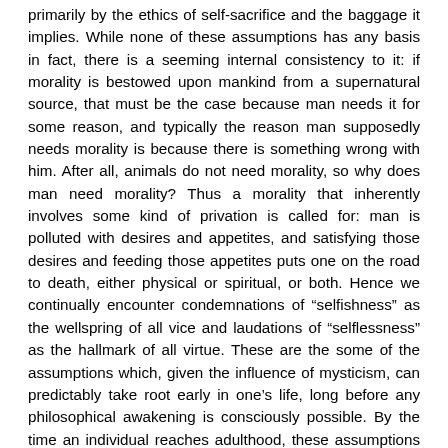primarily by the ethics of self-sacrifice and the baggage it implies. While none of these assumptions has any basis in fact, there is a seeming internal consistency to it: if morality is bestowed upon mankind from a supernatural source, that must be the case because man needs it for some reason, and typically the reason man supposedly needs morality is because there is something wrong with him. After all, animals do not need morality, so why does man need morality? Thus a morality that inherently involves some kind of privation is called for: man is polluted with desires and appetites, and satisfying those desires and feeding those appetites puts one on the road to death, either physical or spiritual, or both. Hence we continually encounter condemnations of “selfishness” as the wellspring of all vice and laudations of “selflessness” as the hallmark of all virtue. These are the some of the assumptions which, given the influence of mysticism, can predictably take root early in one’s life, long before any philosophical awakening is consciously possible. By the time an individual reaches adulthood, these assumptions are so deeply engrained in one’s thinking process that it will seem absurd to question them. And yet, they have no factual basis and do not actually